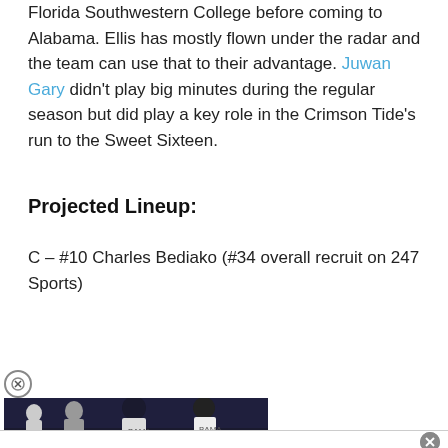Florida Southwestern College before coming to Alabama. Ellis has mostly flown under the radar and the team can use that to their advantage. Juwan Gary didn't play big minutes during the regular season but did play a key role in the Crimson Tide's run to the Sweet Sixteen.
Projected Lineup:
C – #10 Charles Bediako (#34 overall recruit on 247 Sports)
[Figure (photo): Basketball players in dark uniforms standing together on a court, partially visible at bottom of page with advertisement overlay]